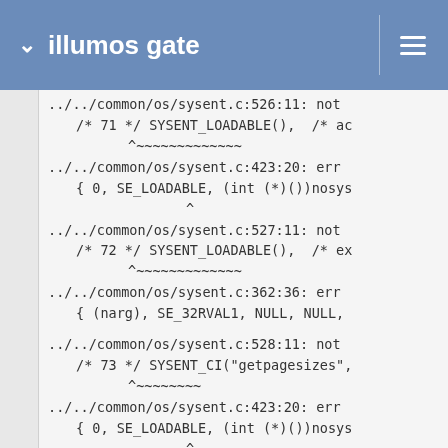illumos gate
../../common/os/sysent.c:526:11: not
    /* 71 */ SYSENT_LOADABLE(),  /* ac
              ^~~~~~~~~~~~~~
../../common/os/sysent.c:423:20: err
    { 0, SE_LOADABLE, (int (*)())nosys
                      ^
../../common/os/sysent.c:527:11: not
    /* 72 */ SYSENT_LOADABLE(),  /* ex
              ^~~~~~~~~~~~~~
../../common/os/sysent.c:362:36: err
    { (narg), SE_32RVAL1, NULL, NULL,

../../common/os/sysent.c:528:11: not
    /* 73 */ SYSENT_CI("getpagesizes",
              ^~~~~~~~~
../../common/os/sysent.c:423:20: err
    { 0, SE_LOADABLE, (int (*)())nosys
                      ^
../../common/os/sysent.c:531:11: not